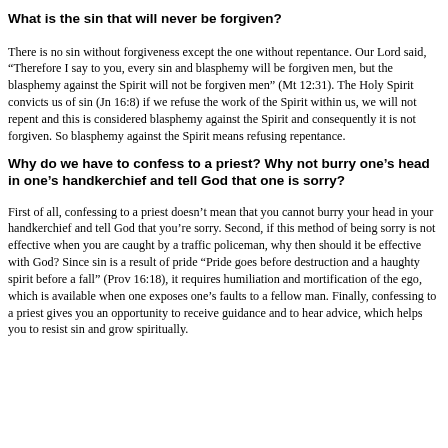What is the sin that will never be forgiven?
There is no sin without forgiveness except the one without repentance. Our Lord said, “Therefore I say to you, every sin and blasphemy will be forgiven men, but the blasphemy against the Spirit will not be forgiven men” (Mt 12:31). The Holy Spirit convicts us of sin (Jn 16:8) if we refuse the work of the Spirit within us, we will not repent and this is considered blasphemy against the Spirit and consequently it is not forgiven. So blasphemy against the Spirit means refusing repentance.
Why do we have to confess to a priest? Why not burry one’s head in one’s handkerchief and tell God that one is sorry?
First of all, confessing to a priest doesn’t mean that you cannot burry your head in your handkerchief and tell God that you’re sorry. Second, if this method of being sorry is not effective when you are caught by a traffic policeman, why then should it be effective with God? Since sin is a result of pride “Pride goes before destruction and a haughty spirit before a fall” (Prov 16:18), it requires humiliation and mortification of the ego, which is available when one exposes one’s faults to a fellow man. Finally, confessing to a priest gives you an opportunity to receive guidance and to hear advice, which helps you to resist sin and grow spiritually.